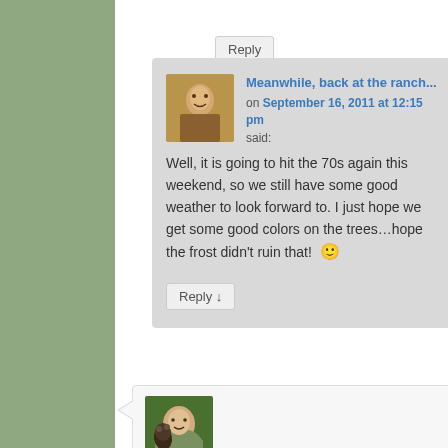Reply ↓
Meanwhile, back at the ranch...
on September 16, 2011 at 12:15 pm said:
Well, it is going to hit the 70s again this weekend, so we still have some good weather to look forward to. I just hope we get some good colors on the trees…hope the frost didn't ruin that! 🙂
Reply ↓
[Figure (photo): Avatar photo of a person with warm tones]
[Figure (photo): Avatar photo of a person with a horse outdoors]